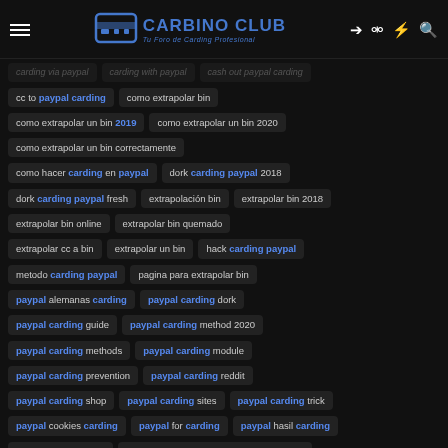CARBINO CLUB - Tu Foro de Carding Profesional
carding via paypal | carding with paypal | cash out paypal carding
cc to paypal carding
como extrapolar bin
como extrapolar un bin 2019
como extrapolar un bin 2020
como extrapolar un bin correctamente
como hacer carding en paypal
dork carding paypal 2018
dork carding paypal fresh
extrapolación bin
extrapolar bin 2018
extrapolar bin online
extrapolar bin quemado
extrapolar cc a bin
extrapolar un bin
hack carding paypal
metodo carding paypal
pagina para extrapolar bin
paypal alemanas carding
paypal carding dork
paypal carding guide
paypal carding method 2020
paypal carding methods
paypal carding module
paypal carding prevention
paypal carding reddit
paypal carding shop
paypal carding sites
paypal carding trick
paypal cookies carding
paypal for carding
paypal hasil carding
paypal here carding
paypal/cc to bitcoin carding method 2019
que es extrapolar bin
tutorial bin netflix
tutorial bins y carding